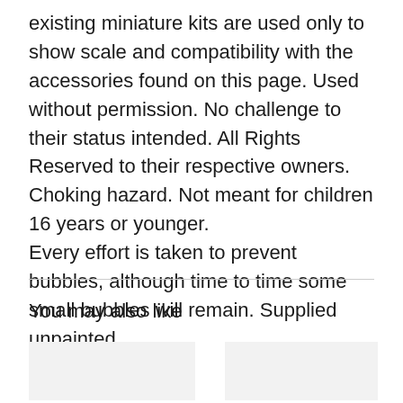existing miniature kits are used only to show scale and compatibility with the accessories found on this page. Used without permission. No challenge to their status intended. All Rights Reserved to their respective owners. Choking hazard. Not meant for children 16 years or younger. Every effort is taken to prevent bubbles, although time to time some small bubbles will remain. Supplied unpainted
You may also like